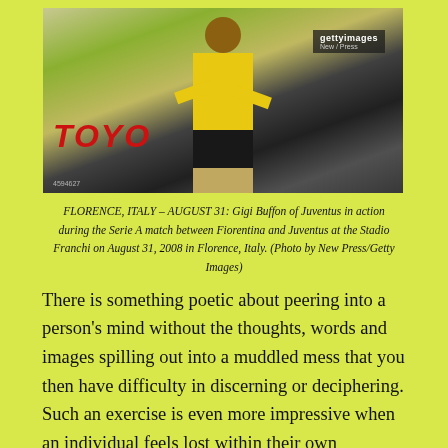[Figure (photo): Gigi Buffon of Juventus in yellow goalkeeper kit standing on the pitch with a Toyota advertising hoarding visible in the background. Getty Images watermark visible in top right corner.]
FLORENCE, ITALY – AUGUST 31: Gigi Buffon of Juventus in action during the Serie A match between Fiorentina and Juventus at the Stadio Franchi on August 31, 2008 in Florence, Italy. (Photo by New Press/Getty Images)
There is something poetic about peering into a person's mind without the thoughts, words and images spilling out into a muddled mess that you then have difficulty in discerning or deciphering. Such an exercise is even more impressive when an individual feels lost within their own thoughts, directionless both within the network of their